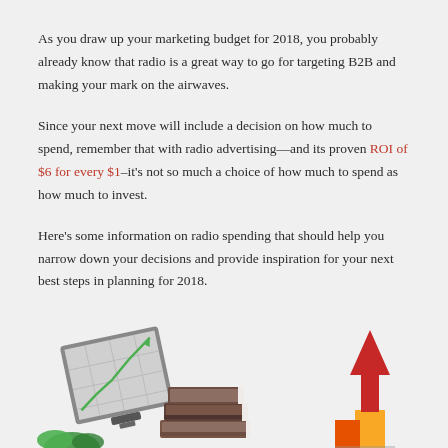As you draw up your marketing budget for 2018, you probably already know that radio is a great way to go for targeting B2B and making your mark on the airwaves.
Since your next move will include a decision on how much to spend, remember that with radio advertising—and its proven ROI of $6 for every $1–it's not so much a choice of how much to spend as how much to invest.
Here's some information on radio spending that should help you narrow down your decisions and provide inspiration for your next best steps in planning for 2018.
[Figure (illustration): Three decorative illustrations at the bottom: a tilted graph/chart with a green upward arrow, a stack of books, and a red upward arrow with yellow/orange blocks at the base.]